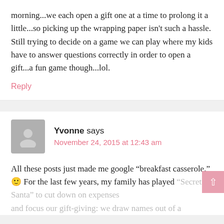morning...we each open a gift one at a time to prolong it a little...so picking up the wrapping paper isn't such a hassle. Still trying to decide on a game we can play where my kids have to answer questions correctly in order to open a gift...a fun game though...lol.
Reply
Yvonne says
November 24, 2015 at 12:43 am
All these posts just made me google "breakfast casserole." 🙂 For the last few years, my family has played "Secret Santa" to cut down on expenses and focus our gift-giving: we draw names out of a